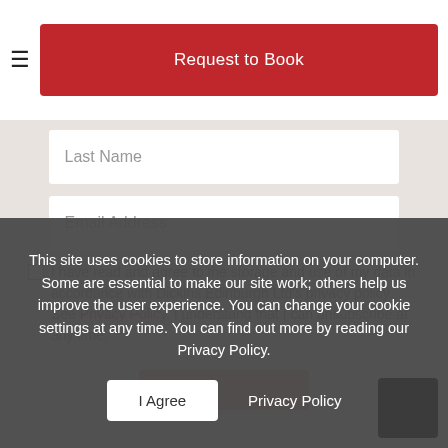[Figure (screenshot): Red 'Request to Book' button with hamburger menu icon on left]
Last Name
Email Address
I have read and agree to the storage and use of my data in accordance with Dickins Edinburgh Ltd's privacy policy. See Privacy Policy. I understand that I can unsubscribe at any time.
This site uses cookies to store information on your computer. Some are essential to make our site work; others help us improve the user experience. You can change your cookie settings at any time. You can find out more by reading our Privacy Policy.
I Agree
Privacy Policy